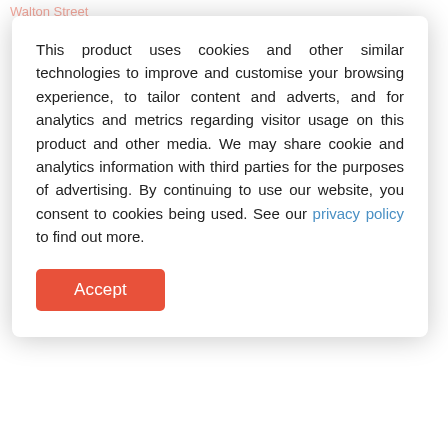Walton Street
This product uses cookies and other similar technologies to improve and customise your browsing experience, to tailor content and adverts, and for analytics and metrics regarding visitor usage on this product and other media. We may share cookie and analytics information with third parties for the purposes of advertising. By continuing to use our website, you consent to cookies being used. See our privacy policy to find out more.
Accept
population of Airport West in 2011 was 6,958 people. By 2016 the population was 7,544 showing a population growth of 8.4% in the area during that time. The predominant age group in Airport West is 30-39 years. Households in Airport West are primarily couples with children and are likely to be repaying $1800 - $2399 per month on mortgage repayments. In general, people in Airport West work in a professional occupation. In 2011, 73.9% of the homes in Airport West were owner-occupied compared with 70.7% in 2016. (source: Australian Bureau of Statistics)